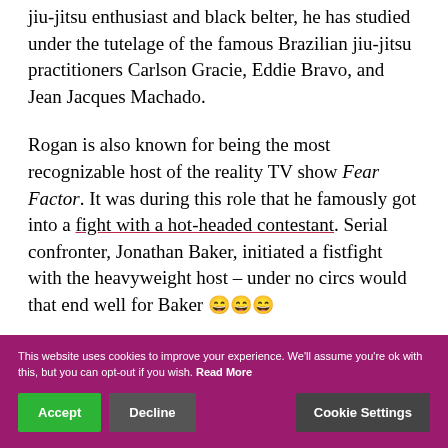jiu-jitsu enthusiast and black belter, he has studied under the tutelage of the famous Brazilian jiu-jitsu practitioners Carlson Gracie, Eddie Bravo, and Jean Jacques Machado.
Rogan is also known for being the most recognizable host of the reality TV show Fear Factor. It was during this role that he famously got into a fight with a hot-headed contestant. Serial confronter, Jonathan Baker, initiated a fistfight with the heavyweight host – under no circs would that end well for Baker 😄😄😄
Known for his popular podcasts, Rogan has brought his...
This website uses cookies to improve your experience. We'll assume you're ok with this, but you can opt-out if you wish. Read More